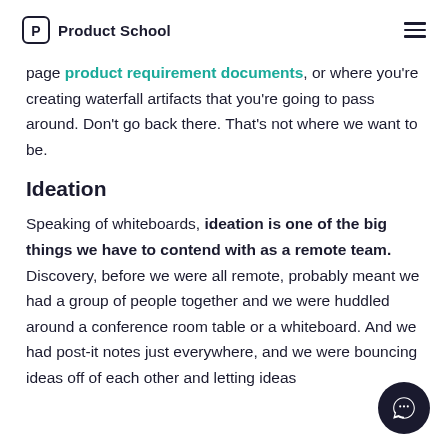Product School
page product requirement documents, or where you're creating waterfall artifacts that you're going to pass around. Don't go back there. That's not where we want to be.
Ideation
Speaking of whiteboards, ideation is one of the big things we have to contend with as a remote team. Discovery, before we were all remote, probably meant we had a group of people together and we were huddled around a conference room table or a whiteboard. And we had post-it notes just everywhere, and we were bouncing ideas off of each other and letting ideas